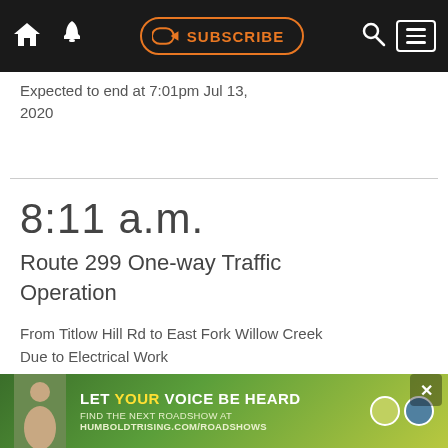SUBSCRIBE
Expected to end at 7:01pm Jul 13, 2020
8:11 a.m.
Route 299 One-way Traffic Operation
From Titlow Hill Rd to East Fork Willow Creek
Due to Electrical Work
Expected to end at 7:01pm Jul 13, 2020
[Figure (photo): Advertisement banner: LET YOUR VOICE BE HEARD - FIND THE NEXT ROADSHOW AT HUMBOLDTRISING.COM/ROADSHOWS]